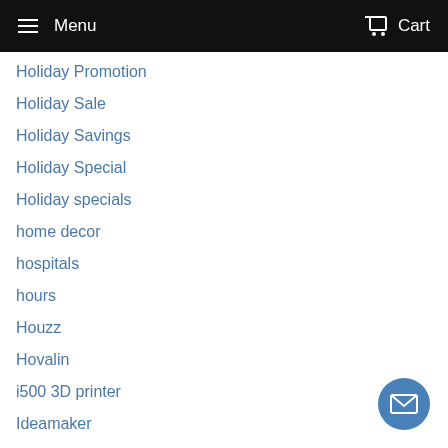Menu  Cart
Holiday Promotion
Holiday Sale
Holiday Savings
Holiday Special
Holiday specials
home decor
hospitals
hours
Houzz
Hovalin
i500 3D printer
Ideamaker
ideaMaker 4.1.0
ideaMaker 4.2.0
ideaMaker 4.2.3